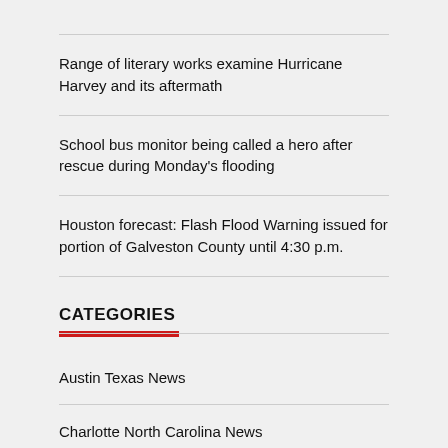Range of literary works examine Hurricane Harvey and its aftermath
School bus monitor being called a hero after rescue during Monday's flooding
Houston forecast: Flash Flood Warning issued for portion of Galveston County until 4:30 p.m.
CATEGORIES
Austin Texas News
Charlotte North Carolina News
Corpus Christi Texas News